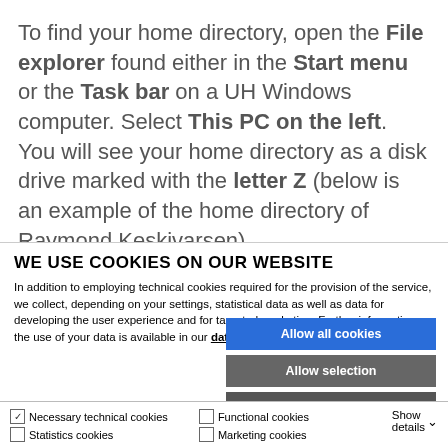To find your home directory, open the File explorer found either in the Start menu or the Task bar on a UH Windows computer. Select This PC on the left. You will see your home directory as a disk drive marked with the letter Z (below is an example of the home directory of Raymond Keskivarsen).
WE USE COOKIES ON OUR WEBSITE
In addition to employing technical cookies required for the provision of the service, we collect, depending on your settings, statistical data as well as data for developing the user experience and for targeted marketing. Further information on the use of your data is available in our data protection statement.
Allow all cookies
Allow selection
Use necessary cookies only
Necessary technical cookies
Functional cookies
Statistics cookies
Marketing cookies
Show details